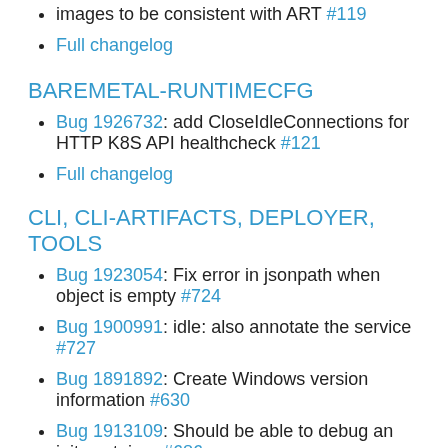images to be consistent with ART #119
Full changelog
BAREMETAL-RUNTIMECFG
Bug 1926732: add CloseIdleConnections for HTTP K8S API healthcheck #121
Full changelog
CLI, CLI-ARTIFACTS, DEPLOYER, TOOLS
Bug 1923054: Fix error in jsonpath when object is empty #724
Bug 1900991: idle: also annotate the service #727
Bug 1891892: Create Windows version information #630
Bug 1913109: Should be able to debug an init container #686
Bug 1906700: ...